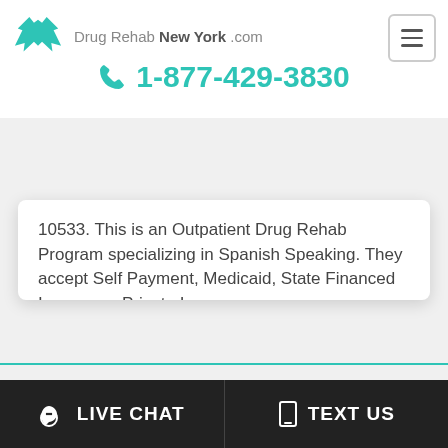Drug Rehab New York .com
1-877-429-3830
10533. This is an Outpatient Drug Rehab Program specializing in Spanish Speaking. They accept Self Payment, Medicaid, State Financed Insurance, Private Insurance. The phone number is 914-591-7300 x3100. http://www.abbotthouse.net
Organizations We Support:
LIVE CHAT
TEXT US